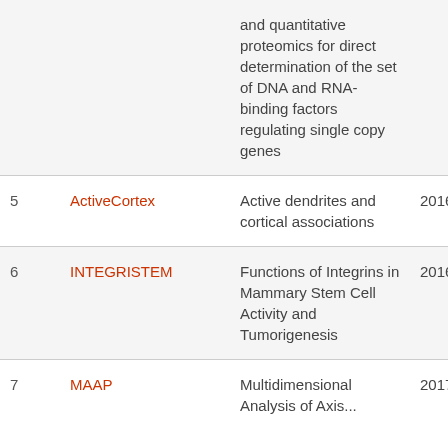| # | Name | Description | Year |
| --- | --- | --- | --- |
|  |  | and quantitative proteomics for direct determination of the set of DNA and RNA-binding factors regulating single copy genes |  |
| 5 | ActiveCortex | Active dendrites and cortical associations | 2016 |
| 6 | INTEGRISTEM | Functions of Integrins in Mammary Stem Cell Activity and Tumorigenesis | 2016 |
| 7 | MAAP | Multidimensional Analysis of Axis... | 2017 |